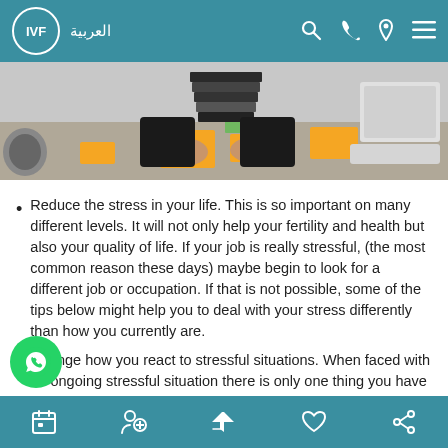IVF | العربية
[Figure (photo): Person sitting at a desk covered with sticky notes and books, working at a computer]
Reduce the stress in your life. This is so important on many different levels. It will not only help your fertility and health but also your quality of life. If your job is really stressful, (the most common reason these days) maybe begin to look for a different job or occupation. If that is not possible, some of the tips below might help you to deal with your stress differently than how you currently are.
Change how you react to stressful situations. When faced with an ongoing stressful situation there is only one thing you have control over – how you react. Pay attention to that. Getting control of how you react will have a big impact on what happens inside of your body when a stressful situation presents itself. This takes some